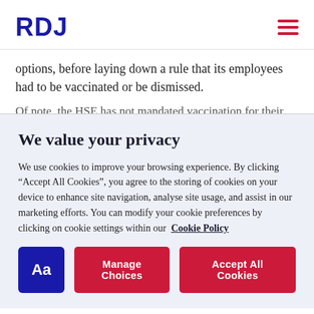RDJ
options, before laying down a rule that its employees had to be vaccinated or be dismissed.
Of note, the HSE has not mandated vaccination for their
We value your privacy
We use cookies to improve your browsing experience. By clicking “Accept All Cookies”, you agree to the storing of cookies on your device to enhance site navigation, analyse site usage, and assist in our marketing efforts. You can modify your cookie preferences by clicking on cookie settings within our  Cookie Policy
Aa  Manage Choices  Accept All Cookies